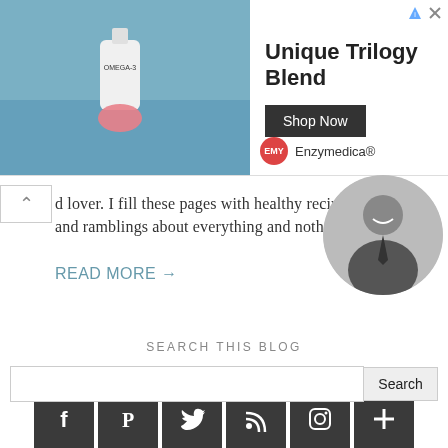[Figure (screenshot): Advertisement banner for Enzymedica Omega-3 supplement with product image, 'Unique Trilogy Blend' headline, Shop Now button, and Enzymedica brand logo.]
d lover. I fill these pages with healthy recipes and ramblings about everything and nothing!
READ MORE →
[Figure (photo): Circular black and white portrait photo of a smiling man in a suit and tie.]
STAY CONNECTED
[Figure (infographic): Row of 6 dark square social media icon buttons: Facebook, Pinterest, Twitter, RSS, Instagram, and a plus/more button.]
SEARCH THIS BLOG
[Figure (screenshot): Search input field with Search button.]